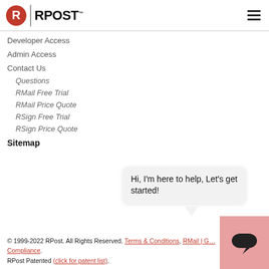[Figure (logo): RPost logo with red circle R icon and RPOST text]
Developer Access
Admin Access
Contact Us
Questions
RMail Free Trial
RMail Price Quote
RSign Free Trial
RSign Price Quote
Sitemap
[Figure (other): Chat bubble with text: Hi, I'm here to help, Let's get started!]
© 1999-2022 RPost. All Rights Reserved. Terms & Conditions, RMail | G... Compliance.
RPost Patented (click for patent list).